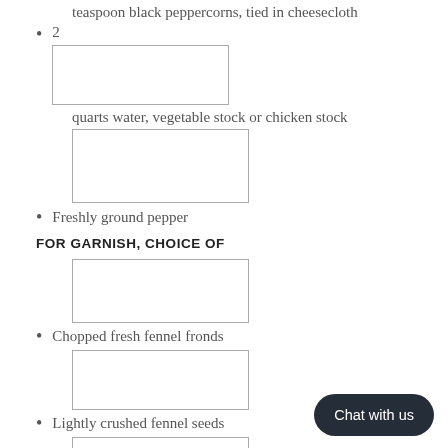teaspoon black peppercorns, tied in cheesecloth
2
quarts water, vegetable stock or chicken stock
Freshly ground pepper
FOR GARNISH, CHOICE OF
Chopped fresh fennel fronds
Lightly crushed fennel seeds
Paper-thin slices of fennel bulb
[Figure (other): Chat with us button widget]